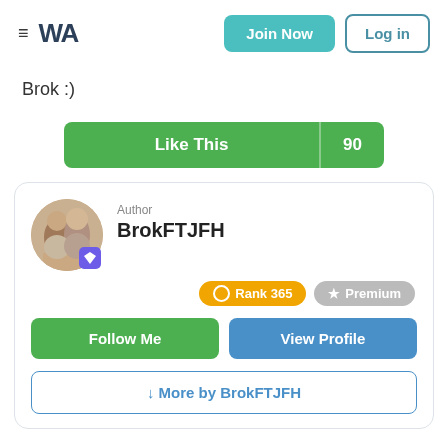≡ WA | Join Now | Log in
Brok :)
[Figure (other): Like This button with count 90]
[Figure (other): Author profile card showing BrokFTJFH with avatar, Rank 365, Premium badge, Follow Me and View Profile buttons, and More by BrokFTJFH link]